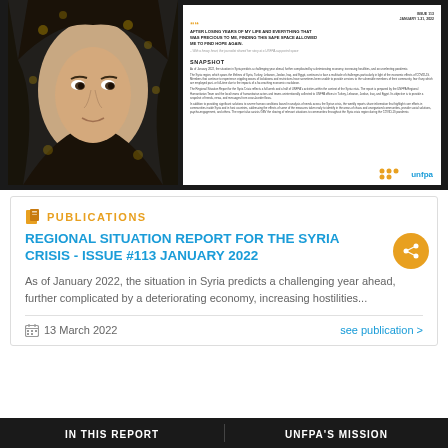[Figure (photo): Woman wearing a dark floral headscarf, portrait photo against dark background]
[Figure (screenshot): Preview of UNFPA Regional Situation Report document page showing quote, SNAPSHOT section, and body text with orange dots logo]
PUBLICATIONS
REGIONAL SITUATION REPORT FOR THE SYRIA CRISIS - ISSUE #113 JANUARY 2022
As of January 2022, the situation in Syria predicts a challenging year ahead, further complicated by a deteriorating economy, increasing hostilities...
13 March 2022
see publication >
IN THIS REPORT
UNFPA'S MISSION